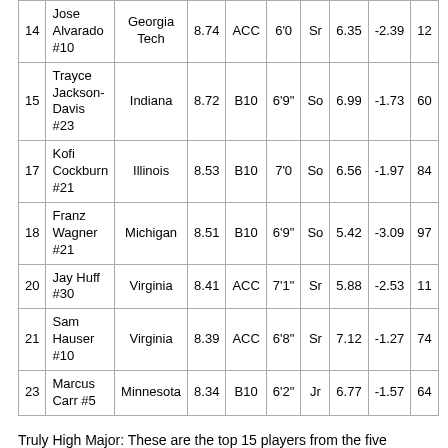|  | Player | School | Score | Conf | Ht | Yr | Col1 | Col2 | Col3 |
| --- | --- | --- | --- | --- | --- | --- | --- | --- | --- |
| 14 | Jose Alvarado #10 | Georgia Tech | 8.74 | ACC | 6'0 | Sr | 6.35 | -2.39 | 12 |
| 15 | Trayce Jackson-Davis #23 | Indiana | 8.72 | B10 | 6'9" | So | 6.99 | -1.73 | 60 |
| 17 | Kofi Cockburn #21 | Illinois | 8.53 | B10 | 7'0 | So | 6.56 | -1.97 | 84 |
| 18 | Franz Wagner #21 | Michigan | 8.51 | B10 | 6'9" | So | 5.42 | -3.09 | 97 |
| 20 | Jay Huff #30 | Virginia | 8.41 | ACC | 7'1" | Sr | 5.88 | -2.53 | 11 |
| 21 | Sam Hauser #10 | Virginia | 8.39 | ACC | 6'8" | Sr | 7.12 | -1.27 | 74 |
| 23 | Marcus Carr #5 | Minnesota | 8.34 | B10 | 6'2" | Jr | 6.77 | -1.57 | 64 |
Truly High Major: These are the top 15 players from the five conferences that have ranked at least above average at www.kenpom.com each of the last three years.